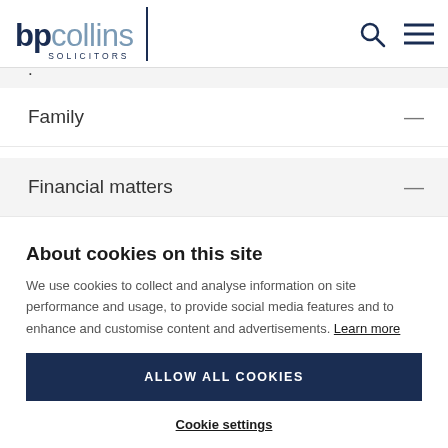bp collins SOLICITORS
Family
Financial matters
About cookies on this site
We use cookies to collect and analyse information on site performance and usage, to provide social media features and to enhance and customise content and advertisements. Learn more
ALLOW ALL COOKIES
Cookie settings